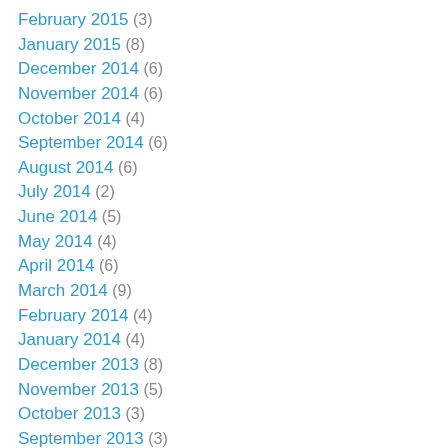February 2015 (3)
January 2015 (8)
December 2014 (6)
November 2014 (6)
October 2014 (4)
September 2014 (6)
August 2014 (6)
July 2014 (2)
June 2014 (5)
May 2014 (4)
April 2014 (6)
March 2014 (9)
February 2014 (4)
January 2014 (4)
December 2013 (8)
November 2013 (5)
October 2013 (3)
September 2013 (3)
August 2013 (6)
July 2013 (8)